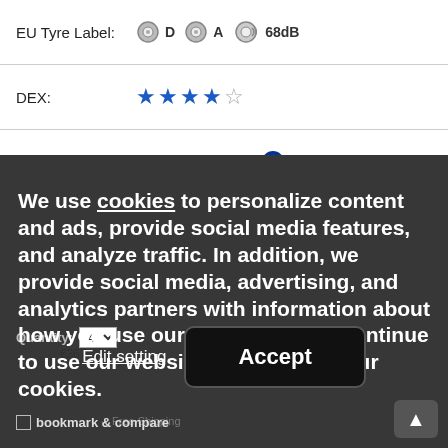| EU Tyre Label: | D  A  68dB |
| DEX: | ★★★★☆ |
|  | European Production |
For questions or concerns please contact us at reifen-guru@delti.com
We use cookies to personalize content and ads, provide social media features, and analyze traffic. In addition, we provide social media, advertising, and analytics partners with information about how you use our website. If you continue to use our website, you agree to our cookies.
Edit setting
Accept